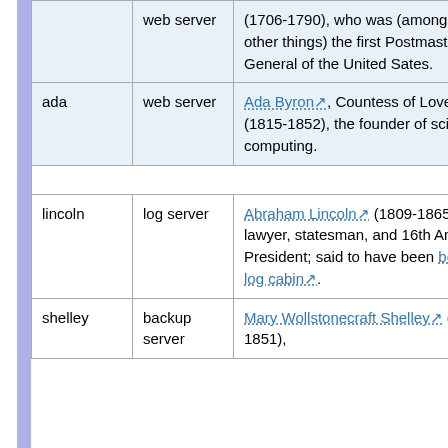| Name | Type | Description |
| --- | --- | --- |
|  | web server | (1706-1790), who was (among many other things) the first Postmaster General of the United Sates. |
| ada | web server | Ada Byron, Countess of Lovelace (1815-1852), the founder of scientific computing. |
| lincoln | log server | Abraham Lincoln (1809-1865), lawyer, statesman, and 16th American President; said to have been born in a log cabin. |
| shelley | backup server | Mary Wollstonecraft Shelley (1797-1851), |